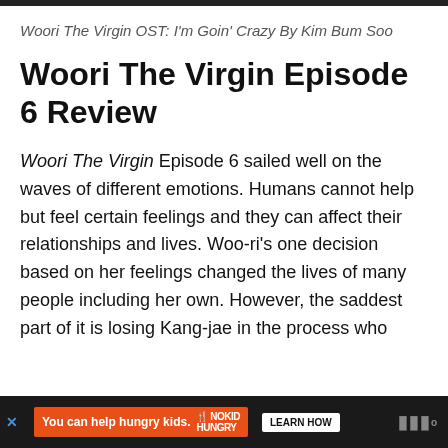Woori The Virgin OST: I'm Goin' Crazy By Kim Bum Soo
Woori The Virgin Episode 6 Review
Woori The Virgin Episode 6 sailed well on the waves of different emotions. Humans cannot help but feel certain feelings and they can affect their relationships and lives. Woo-ri's one decision based on her feelings changed the lives of many people including her own. However, the saddest part of it is losing Kang-jae in the process who lo